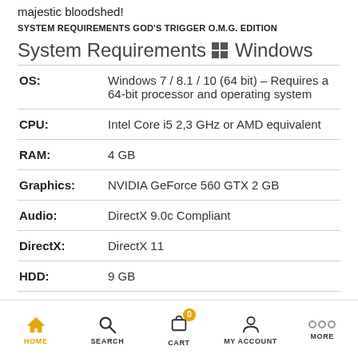majestic bloodshed!
SYSTEM REQUIREMENTS GOD'S TRIGGER O.M.G. EDITION
System Requirements Windows
|  |  |
| --- | --- |
| OS: | Windows 7 / 8.1 / 10 (64 bit) – Requires a 64-bit processor and operating system |
| CPU: | Intel Core i5 2,3 GHz or AMD equivalent |
| RAM: | 4 GB |
| Graphics: | NVIDIA GeForce 560 GTX 2 GB |
| Audio: | DirectX 9.0c Compliant |
| DirectX: | DirectX 11 |
| HDD: | 9 GB |
HOME  SEARCH  CART  MY ACCOUNT  MORE